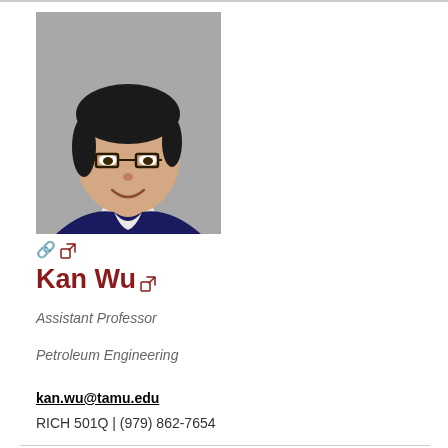[Figure (photo): Headshot photo of Kan Wu, a woman with glasses and dark hair pulled back, wearing a white collared shirt and dark navy patterned sweater, smiling, against a gray background.]
Kan Wu
Assistant Professor
Petroleum Engineering
kan.wu@tamu.edu
RICH 501Q | (979) 862-7654
[Figure (photo): Partial headshot of a man with dark hair, cropped at bottom of page.]